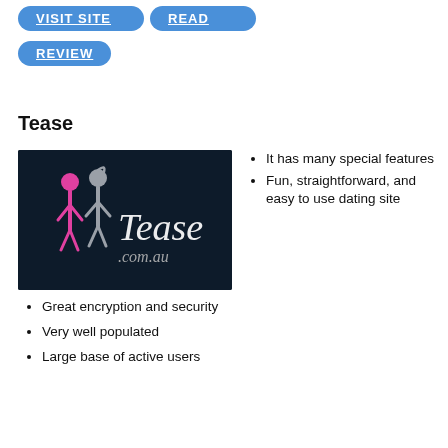VISIT SITE | READ
REVIEW
Tease
[Figure (logo): Tease.com.au logo on dark navy background with two stylized figure icons in pink and grey, and cursive text 'Tease.com.au']
It has many special features
Fun, straightforward, and easy to use dating site
Great encryption and security
Very well populated
Large base of active users